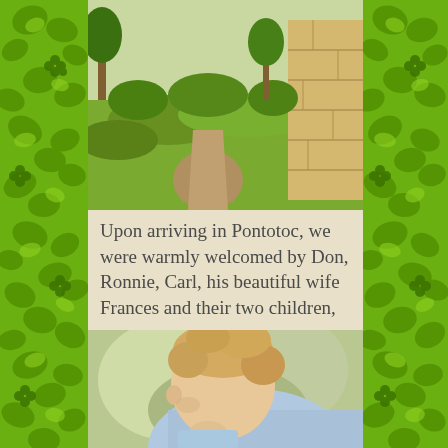[Figure (photo): Outdoor photo showing green grass, a dirt path, and a stone wall structure]
Upon arriving in Pontotoc, we were warmly welcomed by Don, Ronnie, Carl, his beautiful wife Frances and their two children,
[Figure (photo): Close-up photo of a young blonde toddler looking downward, wearing a light blue shirt, with blurred green outdoor background]